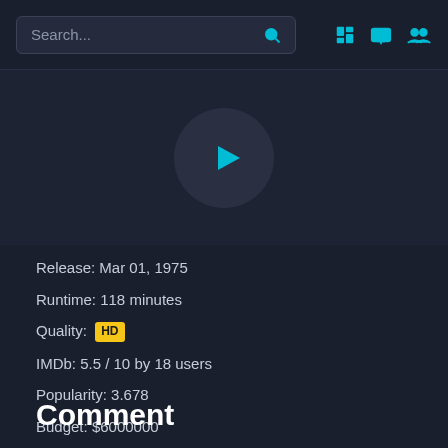Search...
[Figure (other): Video player thumbnail area with dark background and a play button (cyan triangle) inside a dark circle]
Release: Mar 01, 1975
Runtime: 118 minutes
Quality: HD
IMDb: 5.5 / 10 by 18 users
Popularity: 3.678
Budget: $6000000
Revenue: $1500000
Language: English
Comment